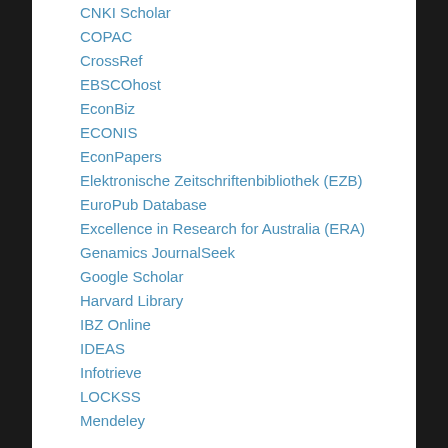CNKI Scholar
COPAC
CrossRef
EBSCOhost
EconBiz
ECONIS
EconPapers
Elektronische Zeitschriftenbibliothek (EZB)
EuroPub Database
Excellence in Research for Australia (ERA)
Genamics JournalSeek
Google Scholar
Harvard Library
IBZ Online
IDEAS
Infotrieve
LOCKSS
Mendeley